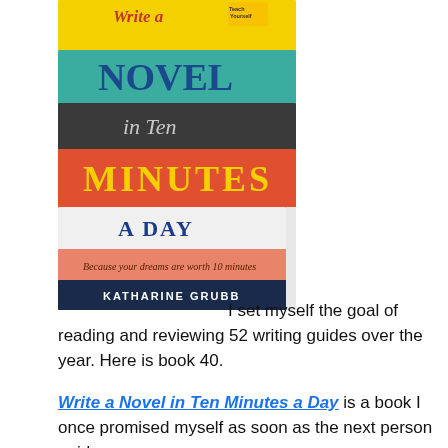[Figure (photo): Stack of books showing 'Write a Novel in Ten Minutes a Day' by Katharine Grubb. Books are stacked with spines/covers visible: yellow book 'Write a' at top, teal book 'NOVEL', dark grey book 'in Ten', orange/red book 'MINUTES', white book 'A DAY', salmon/pink book with subtitle 'Because your dreams are worth 10 minutes', dark navy book 'KATHARINE GRUBB' at bottom.]
I set myself the goal of reading and reviewing 52 writing guides over the year. Here is book 40.
Write a Novel in Ten Minutes a Day is a book I once promised myself as soon as the next person paid me. When that first payment came in on a Monday, I...